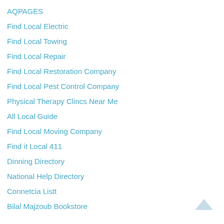AQPAGES
Find Local Electric
Find Local Towing
Find Local Repair
Find Local Restoration Company
Find Local Pest Control Company
Physical Therapy Clincs Near Me
All Local Guide
Find Local Moving Company
Find it Local 411
Dinning Directory
National Help Directory
Connetcia Listt
Bilal Majzoub Bookstore